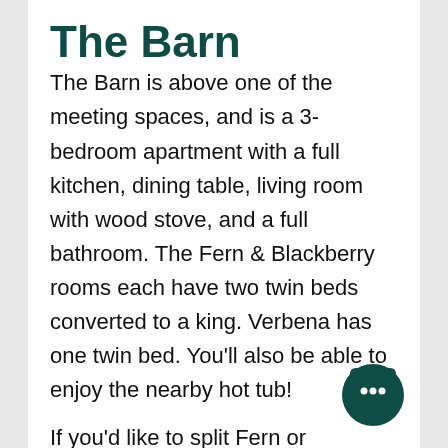The Barn
The Barn is above one of the meeting spaces, and is a 3-bedroom apartment with a full kitchen, dining table, living room with wood stove, and a full bathroom. The Fern & Blackberry rooms each have two twin beds converted to a king. Verbena has one twin bed. You’ll also be able to enjoy the nearby hot tub!
If you’d like to split Fern or
[Figure (illustration): Chat bubble icon — dark teal circular speech bubble with three dots inside]